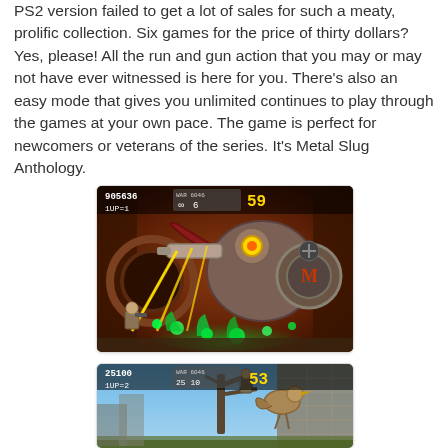PS2 version failed to get a lot of sales for such a meaty, prolific collection. Six games for the price of thirty dollars? Yes, please! All the run and gun action that you may or may not have ever witnessed is here for you. There's also an easy mode that gives you unlimited continues to play through the games at your own pace. The game is perfect for newcomers or veterans of the series. It's Metal Slug Anthology.
[Figure (screenshot): Metal Slug video game screenshot showing a boss fight with a mechanical creature emitting green energy beams. HUD shows score 905636, 1UP=1, infinity lives, 6 bombs, timer 59.]
[Figure (screenshot): Metal Slug video game screenshot showing gameplay with a character on a tree branch. HUD shows score 25100, 1UP=2, 25 lives, 10 bombs, timer 53.]